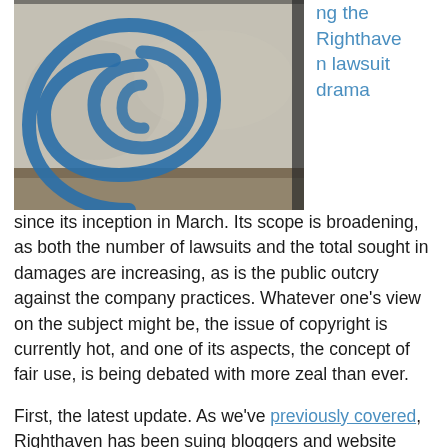[Figure (photo): Photograph of a blue spray-painted copyright symbol (©) swirl on a weathered concrete or wall surface]
ng the Righthaven lawsuit drama since its inception in March. Its scope is broadening, as both the number of lawsuits and the total sought in damages are increasing, as is the public outcry against the company practices. Whatever one's view on the subject might be, the issue of copyright is currently hot, and one of its aspects, the concept of fair use, is being debated with more zeal than ever.
First, the latest update. As we've previously covered, Righthaven has been suing bloggers and website owners over copyright infringement of the Las Vegas Review-Journal (LVR-J) stories. As of last Wednesday, August 18, the total jumped to a cool 100 with two new lawsuits.